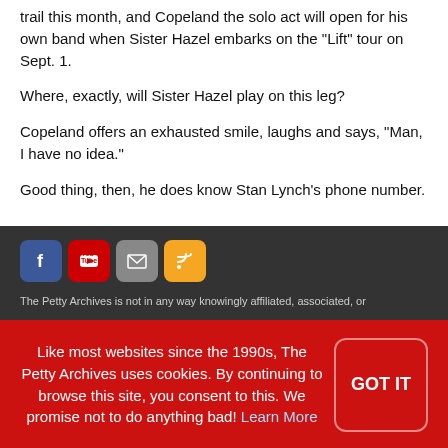trail this month, and Copeland the solo act will open for his own band when Sister Hazel embarks on the "Lift" tour on Sept. 1.
Where, exactly, will Sister Hazel play on this leg?
Copeland offers an exhausted smile, laughs and says, "Man, I have no idea."
Good thing, then, he does know Stan Lynch's phone number.
[Figure (infographic): Social media icons: Facebook (blue), YouTube (red), Email (grey), RSS (orange)]
The Petty Archives is not in any way knowingly affiliated, associated, or
Like most websites since the 1990s, The Petty Archives uses cookies. By continuing to browse this site, you consent to this. We promise not to do anything bad! Learn More